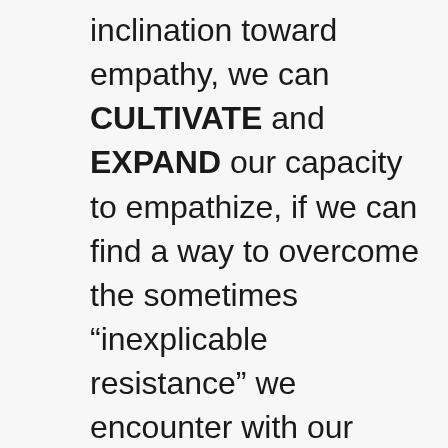inclination toward empathy, we can CULTIVATE and EXPAND our capacity to empathize, if we can find a way to overcome the sometimes “inexplicable resistance” we encounter with our clients, and those others with whom we